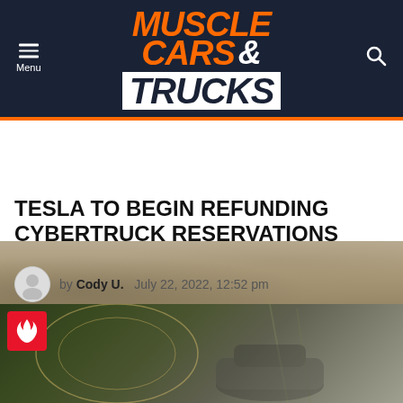Muscle Cars & Trucks
[Figure (photo): Close-up texture of concrete or stone surface strip below header]
TESLA TO BEGIN REFUNDING CYBERTRUCK RESERVATIONS
by Cody U.  July 22, 2022, 12:52 pm
[Figure (photo): Article hero image showing a vehicle with fire badge overlay in top-left corner]
[Figure (other): Advertisement: ShoeMall Shoes - Online source for everyone's footwear - www.shoemall.com]